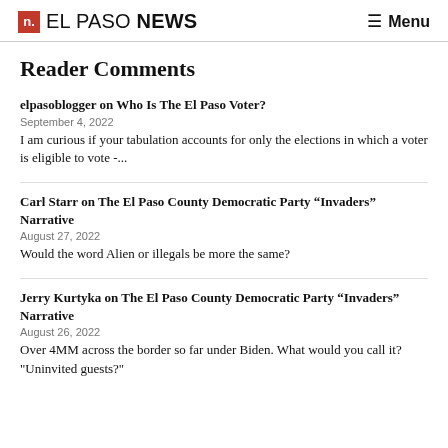n. EL PASO NEWS  ≡ Menu
Reader Comments
elpasoblogger on Who Is The El Paso Voter?
September 4, 2022
I am curious if your tabulation accounts for only the elections in which a voter is eligible to vote -...
Carl Starr on The El Paso County Democratic Party “Invaders” Narrative
August 27, 2022
Would the word Alien or illegals be more the same?
Jerry Kurtyka on The El Paso County Democratic Party “Invaders” Narrative
August 26, 2022
Over 4MM across the border so far under Biden. What would you call it? "Uninvited guests?"